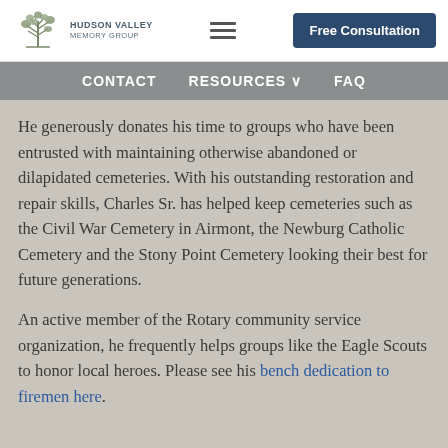Hudson Valley — Free Consultation | CONTACT | RESOURCES | FAQ
He generously donates his time to groups who have been entrusted with maintaining otherwise abandoned or dilapidated cemeteries. With his outstanding restoration and repair skills, Charles Sr. has helped keep cemeteries such as the Civil War Cemetery in Airmont, the Newburg Catholic Cemetery and the Stony Point Cemetery looking their best for future generations.
An active member of the Rotary community service organization, he frequently helps groups like the Eagle Scouts to honor local heroes. Please see his bench dedication to firemen here.